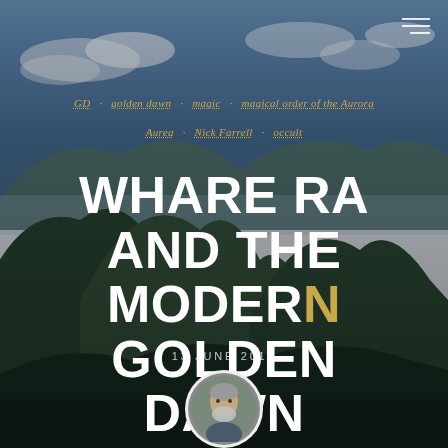[Figure (photo): Scenic mountain landscape with rolling green hills under a partly cloudy blue sky, serving as a background image for a blog post header.]
GD · golden dawn · magic · magical order of the Aurora Aurea · Nick Farrell · occult
WHARE RA AND THE MODERN GOLDEN DAWN
13 JUNE 2015
[Figure (photo): Circular portrait photo of Nick Farrell, a bearded older man.]
Nick Farrell